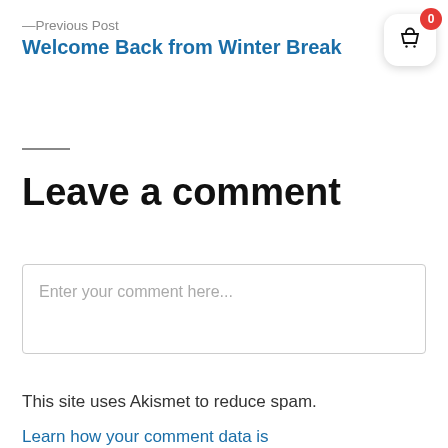—Previous Post
Welcome Back from Winter Break
Leave a comment
Enter your comment here...
This site uses Akismet to reduce spam.
Learn how your comment data is